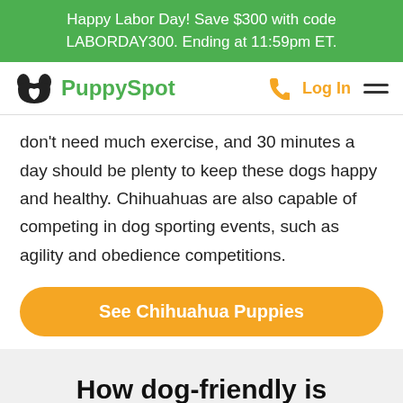Happy Labor Day! Save $300 with code LABORDAY300. Ending at 11:59pm ET.
[Figure (logo): PuppySpot logo with paw/heart icon in black and green text, plus phone icon, Log In link, and hamburger menu in orange/black]
don't need much exercise, and 30 minutes a day should be plenty to keep these dogs happy and healthy. Chihuahuas are also capable of competing in dog sporting events, such as agility and obedience competitions.
See Chihuahua Puppies
How dog-friendly is